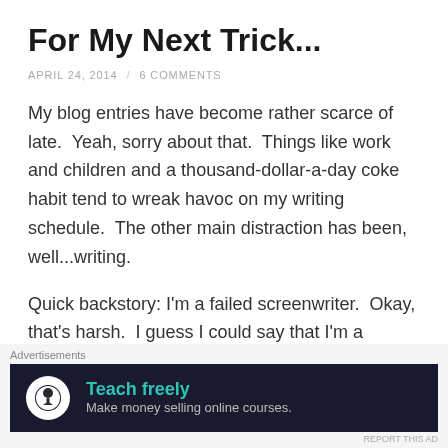For My Next Trick...
APRIL 24, 2014 / 6 COMMENTS
My blog entries have become rather scarce of late.  Yeah, sorry about that.  Things like work and children and a thousand-dollar-a-day coke habit tend to wreak havoc on my writing schedule.  The other main distraction has been, well...writing.
Quick backstory: I'm a failed screenwriter.  Okay, that's harsh.  I guess I could say that I'm a successful screenwriter, as I penned two screenplays and entered them into the Project: Greenlight competition around the turn of the
Advertisements
[Figure (other): Advertisement banner: dark background with circular tree/person logo icon, headline 'Teach freely' in teal, subtext 'Make money selling online courses.']